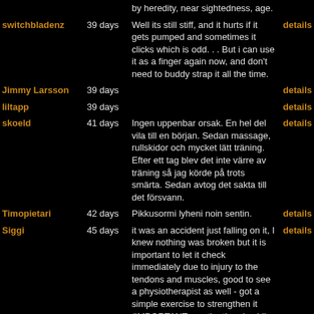by heredity, near sightedness, age.
switchbladenz | 39 days | Well its still stiff, and it hurts if it gets pumped and sometimes it clicks which is odd. . . But i can use it as a finger again now, and don't need to buddy strap it all the time. | details
Jimmy Larsson | 39 days | | details
liltapp | 39 days | | details
skoeld | 41 days | Ingen uppenbar orsak. En hel del vila till en början. Sedan massage, rullskidor och mycket lätt träning. Efter ett tag blev det inte värre av träning så jag körde på trots smärta. Sedan avtog det sakta till det försvann. | details
Timopietari | 42 days | Pikkusormi lyheni noin sentin. | details
Siggi | 45 days | it was an accident just falling on it, I knew nothing was broken but it is important to let it check immediately due to injury to the tendons and muscles, good to see a physiotherapist as well - got a simple exercise to strengthen it (IMPORTANT use the thumb while it is healing, move it!) | details
glenn | 46 days | Dont lift heavy things at work. Bike riding makes back injuries worse. | details
Nivut | 46 days | | details